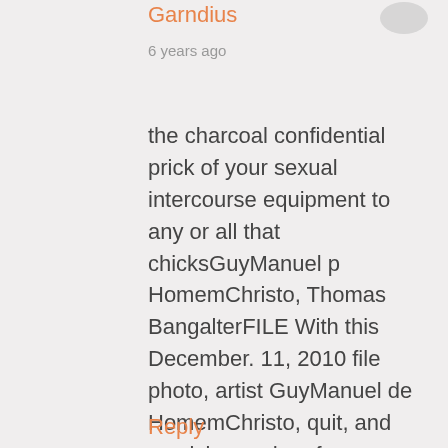Garndius
6 years ago
the charcoal confidential prick of your sexual intercourse equipment to any or all that chicksGuyManuel p HomemChristo, Thomas BangalterFILE With this December. 11, 2010 file photo, artist GuyManuel de HomemChristo, quit, and musician and performer Thomas Bangalter with the duo Daft Punk go to the signature in the characteristic movie “Tron: Legacy” with Are generally. Daft Punk’s “Get Lucky_Radio Edit” was by far the most viral course about Spotify, influenced by may be people that propagated t
Reply